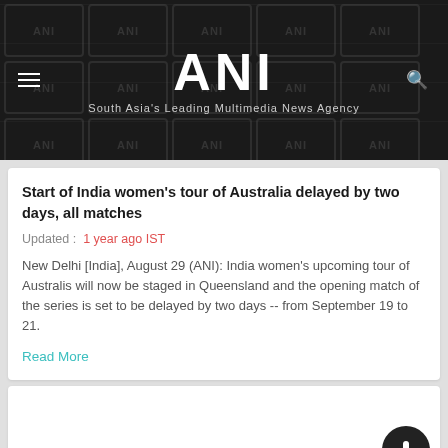ANI — South Asia's Leading Multimedia News Agency
Start of India women's tour of Australia delayed by two days, all matches
Updated :  1 year ago IST
New Delhi [India], August 29 (ANI): India women's upcoming tour of Australis will now be staged in Queensland and the opening match of the series is set to be delayed by two days -- from September 19 to 21.
Read More